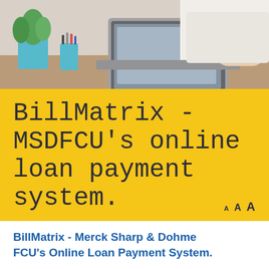[Figure (photo): Person working at a laptop on a wooden desk, holding a coffee cup, with a plant and pen holder visible in the background. Overhead/desk scene in warm natural light.]
BillMatrix - MSDFCU's online loan payment system.
A  A  A
BillMatrix - Merck Sharp & Dohme FCU's Online Loan Payment System.